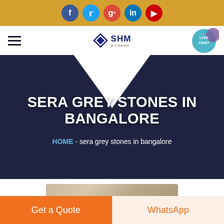[Figure (screenshot): Social media icons bar with Facebook, Twitter, Google+, LinkedIn, YouTube circular icons on a golden/amber background]
[Figure (screenshot): Navigation bar with hamburger menu icon on left, SHM logo (diamond icon + text) in center, and Live Chat bubble button on right]
SERA GREY STONES IN BANGALORE
HOME  -  sera grey stones in bangalore
[Figure (photo): Partially visible interior/architectural photo showing stone or ceiling structure]
Get a Quote
WhatsApp